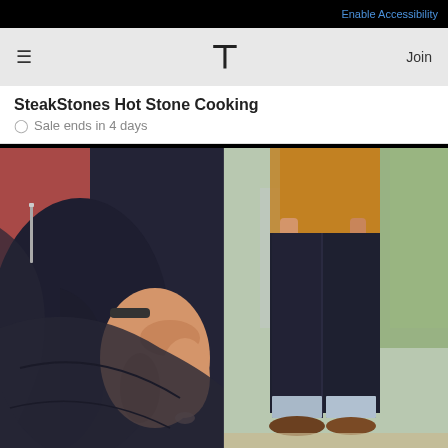Enable Accessibility
≡  T  Join
SteakStones Hot Stone Cooking
⊙ Sale ends in 4 days
[Figure (photo): Split product photo: left side shows close-up of dark navy fabric/jeans being stretched by a hand, revealing a zipper pocket detail, person wearing a pink/red shirt; right side shows a man from waist down wearing dark slim jeans with rolled cuffs, a mustard/caramel top, and brown leather shoes, standing on a surface with a blurred city background.]